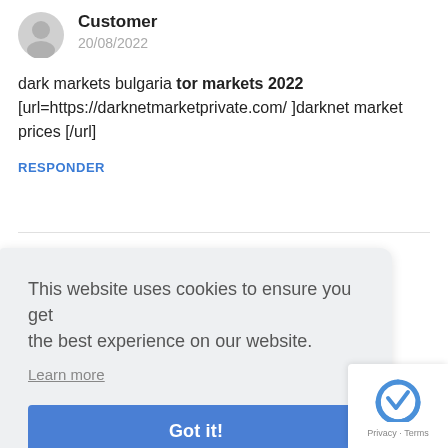Customer
20/08/2022
dark markets bulgaria tor markets 2022 [url=https://darknetmarketprivate.com/ ]darknet market prices [/url]
RESPONDER
This website uses cookies to ensure you get the best experience on our website.
Learn more
Got it!
Customer